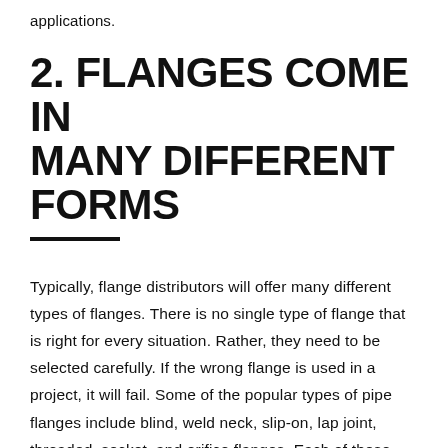applications.
2. FLANGES COME IN MANY DIFFERENT FORMS
Typically, flange distributors will offer many different types of flanges. There is no single type of flange that is right for every situation. Rather, they need to be selected carefully. If the wrong flange is used in a project, it will fail. Some of the popular types of pipe flanges include blind, weld neck, slip-on, lap joint, threaded, socket, and orifice flanges. Each of these serves a different purpose.